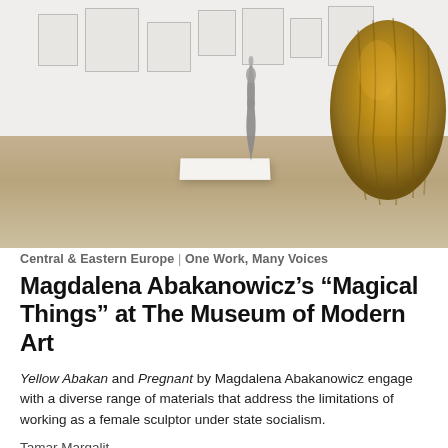[Figure (photo): Interior of The Museum of Modern Art gallery showing framed artworks on white walls, a tall metallic sculpture on a white pedestal, and a large golden/ochre hanging textile sculpture (Yellow Abakan) in the upper right corner. Light wood-toned floor.]
Central & Eastern Europe | One Work, Many Voices
Magdalena Abakanowicz’s “Magical Things” at The Museum of Modern Art
Yellow Abakan and Pregnant by Magdalena Abakanowicz engage with a diverse range of materials that address the limitations of working as a female sculptor under state socialism.
Tamar Margalit